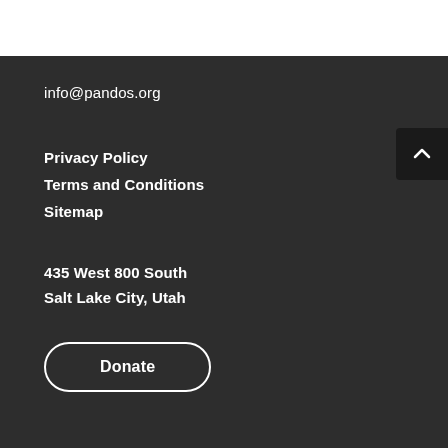info@pandos.org
Privacy Policy
Terms and Conditions
Sitemap
435 West 800 South
Salt Lake City, Utah
Donate